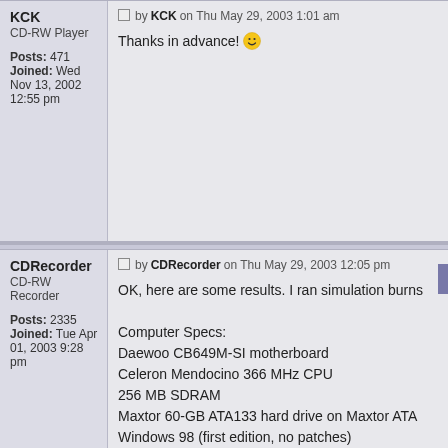KCK
CD-RW Player
Posts: 471
Joined: Wed Nov 13, 2002 12:55 pm
by KCK on Thu May 29, 2003 1:01 am
Thanks in advance!
CDRecorder
CD-RW Recorder
Posts: 2335
Joined: Tue Apr 01, 2003 9:28 pm
by CDRecorder on Thu May 29, 2003 12:05 pm
OK, here are some results. I ran simulation burns

Computer Specs:
Daewoo CB649M-SI motherboard
Celeron Mendocino 366 MHz CPU
256 MB SDRAM
Maxtor 60-GB ATA133 hard drive on Maxtor ATA
Windows 98 (first edition, no patches)
Easy CD Creator Platinum 5.3.5 (With DirectCD)
Nero 5.5.10.28 Demo (no InCD)
Philips PCRW1208 recorder with firmware 4.0 (u
Creative CD-RW RW1210E (rebadged LTR-1210
(not used for test, but installed)

I ran the simulation in both ECDC and Nero on a
mode. It worked fine in both programs.